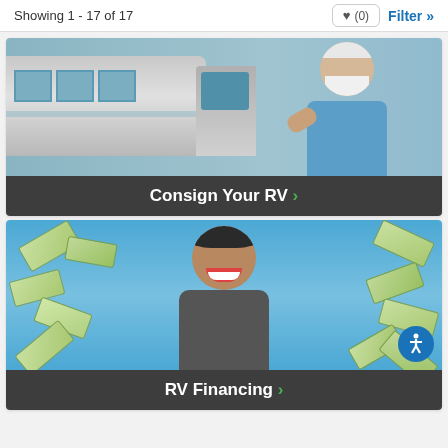Showing 1 - 17 of 17
[Figure (photo): Older man with white beard giving thumbs up in front of an RV, with dark banner below reading 'Consign Your RV >']
Consign Your RV >
[Figure (photo): Man laughing with dollar bills flying around him, with dark banner below reading 'RV Financing >']
RV Financing >